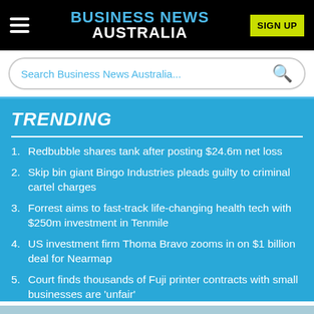BUSINESS NEWS AUSTRALIA
Search Business News Australia...
TRENDING
1. Redbubble shares tank after posting $24.6m net loss
2. Skip bin giant Bingo Industries pleads guilty to criminal cartel charges
3. Forrest aims to fast-track life-changing health tech with $250m investment in Tenmile
4. US investment firm Thoma Bravo zooms in on $1 billion deal for Nearmap
5. Court finds thousands of Fuji printer contracts with small businesses are 'unfair'